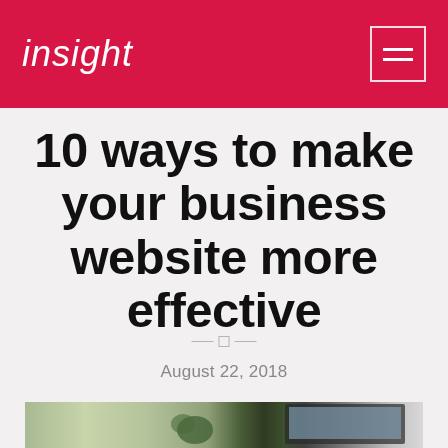insight
10 ways to make your business website more effective
August 22, 2018
[Figure (photo): Desk scene with a laptop, plant, and pencils, shot from a slightly elevated angle in a bright environment]